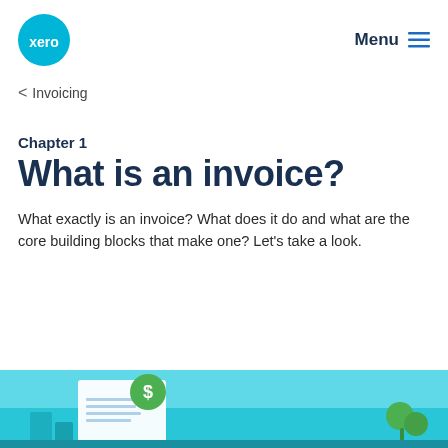xero | Menu
< Invoicing
Chapter 1
What is an invoice?
What exactly is an invoice? What does it do and what are the core building blocks that make one? Let's take a look.
[Figure (illustration): Illustration showing a document with a dollar sign badge and green plant graphic on a teal/light blue background]